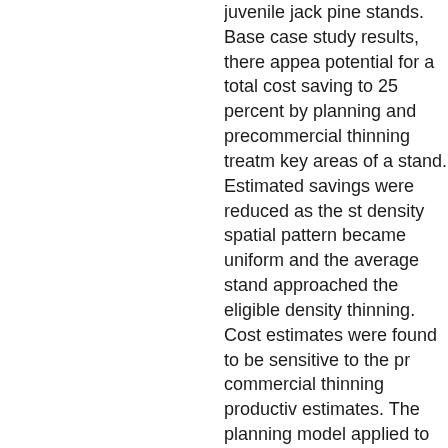juvenile jack pine stands. Base case study results, there appears potential for a total cost saving to 25 percent by planning and precommercial thinning treatments key areas of a stand. Estimated savings were reduced as the stand density spatial pattern became more uniform and the average stand density approached the eligible density for thinning. Cost estimates were found to be sensitive to the precommercial thinning productivity estimates. The planning model could be applied to other problems involving spatial components such as skid road planning in harvest blocks. Use of the DSS could assist in investigating interactions between stand density patterns, pre-commercial thinning